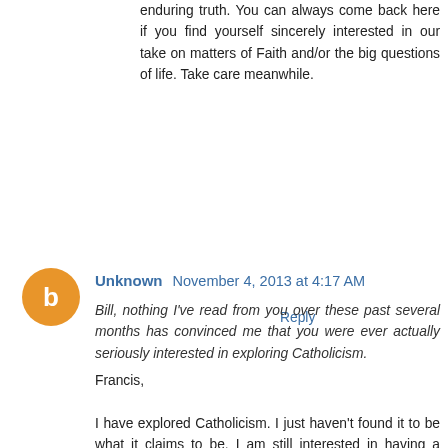enduring truth. You can always come back here if you find yourself sincerely interested in our take on matters of Faith and/or the big questions of life. Take care meanwhile.
Reply
Unknown  November 4, 2013 at 4:17 AM
Bill, nothing I've read from you over these past several months has convinced me that you were ever actually seriously interested in exploring Catholicism.
Francis,
I have explored Catholicism. I just haven't found it to be what it claims to be. I am still interested in having a personal relation with Jesus because he is the most influential person in the history of the world. Even if it turns out that he is long dead and gone, he resides in my consciousness and in the consciousness of you and every other person who thinks of him as a model for humans to imitate and emulate. Yes. The Church has kept his memory alive, and the world should be grateful for that. But the